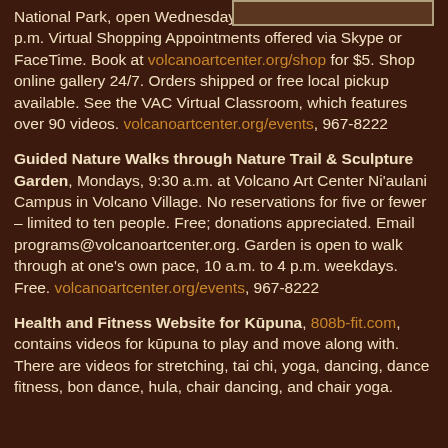[Figure (other): Partial image/box visible at top right, appears to be a table or graphic element with border]
National Park, open Wednesday through Sunday, 9 a.m. to 4 p.m. Virtual Shopping Appointments offered via Skype or FaceTime. Book at volcanoartcenter.org/shop for $5. Shop online gallery 24/7. Orders shipped or free local pickup available. See the VAC Virtual Classroom, which features over 90 videos. volcanoartcenter.org/events, 967-8222
Guided Nature Walks through Nature Trail & Sculpture Garden, Mondays, 9:30 a.m. at Volcano Art Center Ni'aulani Campus in Volcano Village. No reservations for five or fewer – limited to ten people. Free; donations appreciated. Email programs@volcanoartcenter.org. Garden is open to walk through at one's own pace, 10 a.m. to 4 p.m. weekdays. Free. volcanoartcenter.org/events, 967-8222
Health and Fitness Website for Kūpuna, 808b-fit.com, contains videos for kūpuna to play and move along with. There are videos for stretching, tai chi, yoga, dancing, dance fitness, bon dance, hula, chair dancing, and chair yoga.